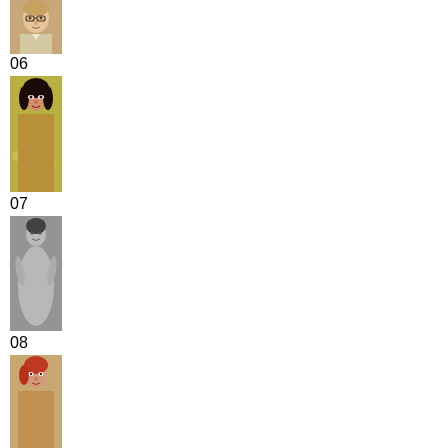[Figure (photo): Portrait photo of a man with glasses, wearing a light-colored shirt]
06
[Figure (photo): Photo of a woman with dark hair against a floral background]
07
[Figure (photo): Black and white photo of a person in a white outfit]
08
[Figure (photo): Photo of a person with reddish hair]
09
[Figure (photo): Photo of a person in autumn/outdoor setting with brown clothing]
10
[Figure (photo): Photo of a person wearing sunglasses and pink/red outfit]
11